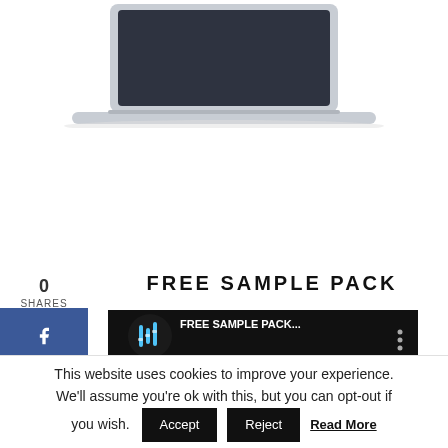[Figure (illustration): Partial laptop illustration at the top of the page, showing the screen and base of a stylized laptop computer.]
0
SHARES
FREE SAMPLE PACK
[Figure (screenshot): YouTube video thumbnail showing 'FREE SAMPLE PACK...' with a play button overlay, a music mixer icon, and a vintage-style background image. Three dots menu icon visible.]
This website uses cookies to improve your experience. We'll assume you're ok with this, but you can opt-out if you wish.
Accept
Reject
Read More